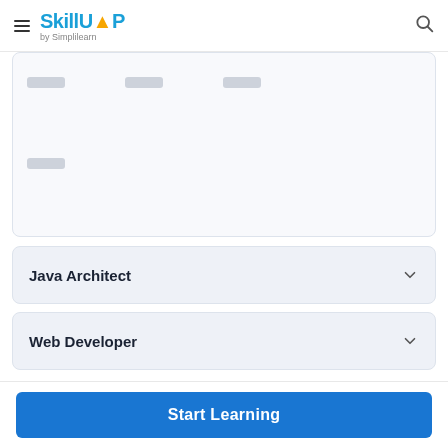SkillUP by Simplilearn
[Figure (screenshot): Partially visible expanded accordion card with skeleton/placeholder gray boxes representing loading content]
Java Architect
Web Developer
Start Learning